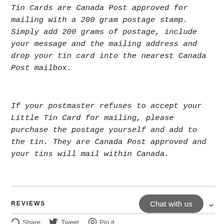Tin Cards are Canada Post approved for mailing with a 200 gram postage stamp. Simply add 200 grams of postage, include your message and the mailing address and drop your tin card into the nearest Canada Post mailbox.
If your postmaster refuses to accept your Little Tin Card for mailing, please purchase the postage yourself and add to the tin. They are Canada Post approved and your tins will mail within Canada.
REVIEWS